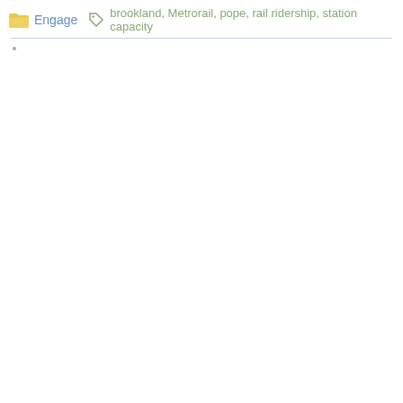Engage  brookland, Metrorail, pope, rail ridership, station capacity